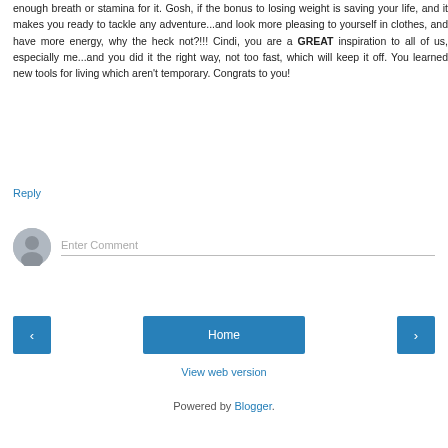enough breath or stamina for it. Gosh, if the bonus to losing weight is saving your life, and it makes you ready to tackle any adventure...and look more pleasing to yourself in clothes, and have more energy, why the heck not?!!! Cindi, you are a GREAT inspiration to all of us, especially me...and you did it the right way, not too fast, which will keep it off. You learned new tools for living which aren't temporary. Congrats to you!
Reply
Enter Comment
Home
View web version
Powered by Blogger.